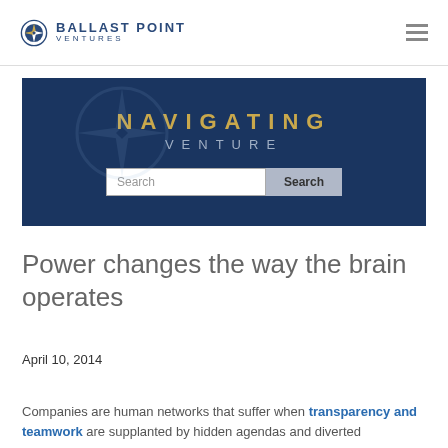BALLAST POINT VENTURES
[Figure (screenshot): Navigating Venture banner with search box on dark blue background]
Power changes the way the brain operates
April 10, 2014
Companies are human networks that suffer when transparency and teamwork are supplanted by hidden agendas and diverted